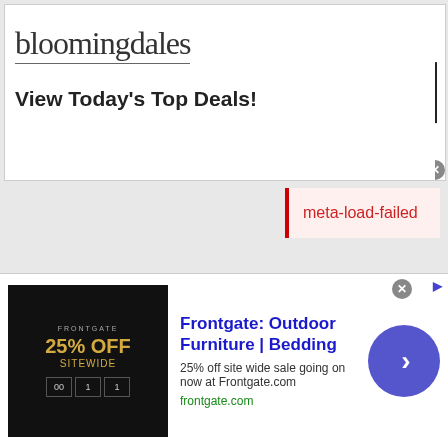[Figure (screenshot): Bloomingdale's advertisement banner with logo, 'View Today's Top Deals!' tagline, woman in hat photo, and 'SHOP NOW >' button]
meta-load-failed
[Figure (screenshot): Frontgate: Outdoor Furniture | Bedding advertisement. 25% off site wide sale going on now at Frontgate.com. frontgate.com]